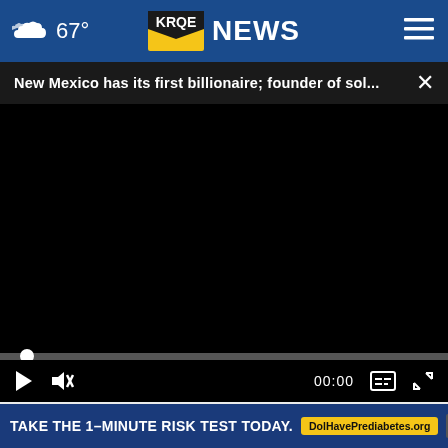67° KRQE NEWS
New Mexico has its first billionaire; founder of sol... ×
[Figure (screenshot): Black video player area (no content loaded), with progress bar and playback controls showing 00:00 timestamp, play button, mute button, captions and fullscreen icons]
Homeowners Are Trading In Their Doorbell Cameras for This
TAKE THE 1-MINUTE RISK TEST TODAY. DolHavePrediabetes.org